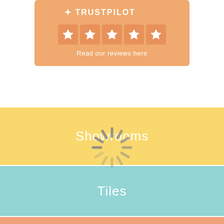[Figure (logo): Trustpilot logo with 5 orange star rating boxes and text 'Read our reviews here' on an orange/peach background]
Showrooms
[Figure (other): Loading spinner (sunburst/radial spinner) overlaid on navigation sections]
Tiles
Installation